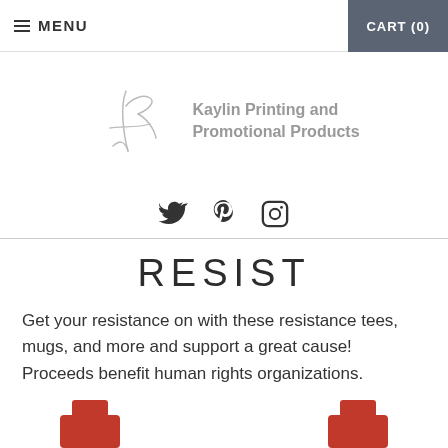MENU   CART (0)
[Figure (logo): Kaylin Printing and Promotional Products logo with stylized K signature mark in gray]
[Figure (other): Social media icons: Twitter bird, Pinterest P, Instagram camera]
RESIST
Get your resistance on with these resistance tees, mugs, and more and support a great cause! Proceeds benefit human rights organizations.
[Figure (photo): Partially visible product thumbnails at the bottom of the page showing red-accented items]